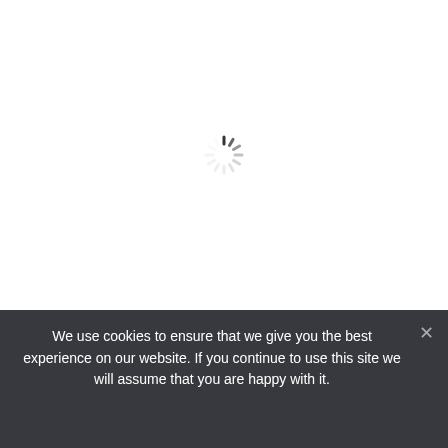[Figure (other): Loading spinner icon (animated spinner wheel) centered in the upper white area of the page]
Indus Business Academy Post
We use cookies to ensure that we give you the best experience on our website. If you continue to use this site we will assume that you are happy with it.